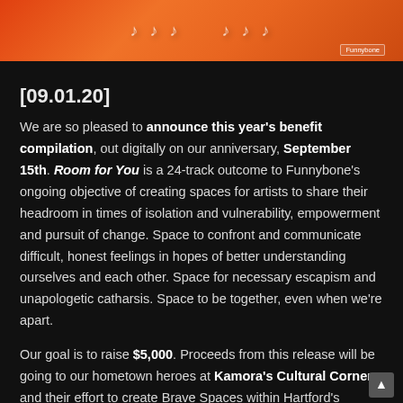[Figure (illustration): Orange/red gradient banner with stylized text and a small 'Funnybone' label in the lower right corner]
[09.01.20]
We are so pleased to announce this year's benefit compilation, out digitally on our anniversary, September 15th. Room for You is a 24-track outcome to Funnybone's ongoing objective of creating spaces for artists to share their headroom in times of isolation and vulnerability, empowerment and pursuit of change. Space to confront and communicate difficult, honest feelings in hopes of better understanding ourselves and each other. Space for necessary escapism and unapologetic catharsis. Space to be together, even when we're apart.
Our goal is to raise $5,000. Proceeds from this release will be going to our hometown heroes at Kamora's Cultural Corner and their effort to create Brave Spaces within Hartford's marginalized communities, as well as to the Loveland's Therapy Fund for Black Women and Girls, the National Queer